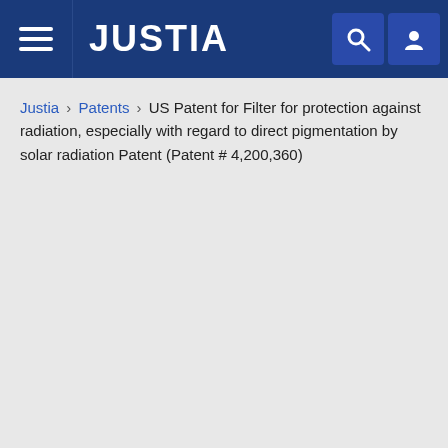JUSTIA
Justia › Patents › US Patent for Filter for protection against radiation, especially with regard to direct pigmentation by solar radiation Patent (Patent # 4,200,360)